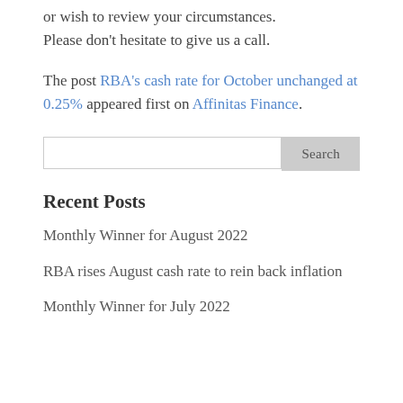or wish to review your circumstances. Please don't hesitate to give us a call.
The post RBA's cash rate for October unchanged at 0.25% appeared first on Affinitas Finance.
Search
Recent Posts
Monthly Winner for August 2022
RBA rises August cash rate to rein back inflation
Monthly Winner for July 2022